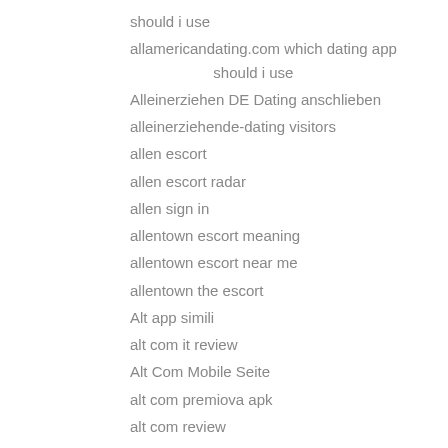should i use
allamericandating.com which dating app should i use
Alleinerziehen DE Dating anschlieben
alleinerziehende-dating visitors
allen escort
allen escort radar
allen sign in
allentown escort meaning
allentown escort near me
allentown the escort
Alt app simili
alt com it review
Alt Com Mobile Seite
alt com premiova apk
alt com review
Alt commenti
alt fotografie
alt review